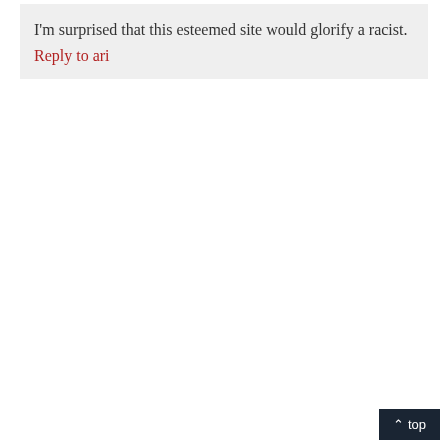I'm surprised that this esteemed site would glorify a racist.
Reply to ari
^ top